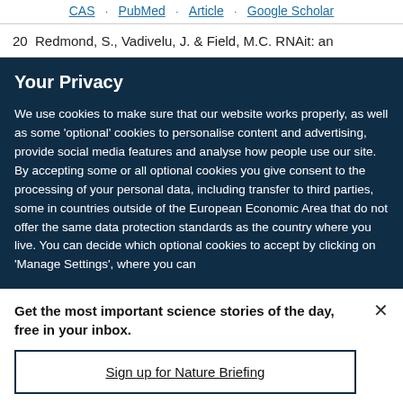CAS · PubMed · Article · Google Scholar
20  Redmond, S., Vadivelu, J. & Field, M.C. RNAit: an
Your Privacy
We use cookies to make sure that our website works properly, as well as some 'optional' cookies to personalise content and advertising, provide social media features and analyse how people use our site. By accepting some or all optional cookies you give consent to the processing of your personal data, including transfer to third parties, some in countries outside of the European Economic Area that do not offer the same data protection standards as the country where you live. You can decide which optional cookies to accept by clicking on 'Manage Settings', where you can
Get the most important science stories of the day, free in your inbox.
Sign up for Nature Briefing